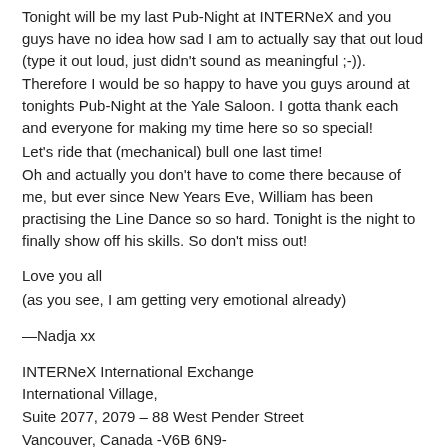Tonight will be my last Pub-Night at INTERNeX and you guys have no idea how sad I am to actually say that out loud (type it out loud, just didn't sound as meaningful ;-)).
Therefore I would be so happy to have you guys around at tonights Pub-Night at the Yale Saloon. I gotta thank each and everyone for making my time here so so special!
Let's ride that (mechanical) bull one last time!
Oh and actually you don't have to come there because of me, but ever since New Years Eve, William has been practising the Line Dance so so hard. Tonight is the night to finally show off his skills. So don't miss out!
Love you all
(as you see, I am getting very emotional already)
—Nadja xx
INTERNeX International Exchange
International Village,
Suite 2077, 2079 – 88 West Pender Street
Vancouver, Canada -V6B 6N9-
Web: http://www.internexcanada.com
Email: pr@internexcanada.com